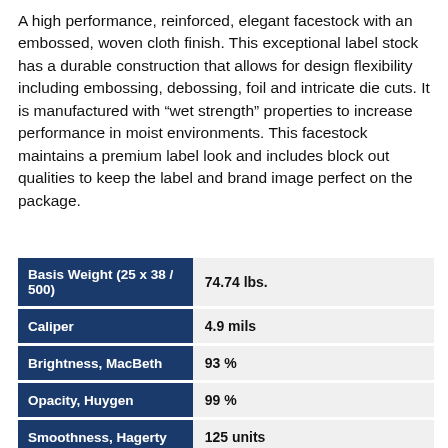A high performance, reinforced, elegant facestock with an embossed, woven cloth finish. This exceptional label stock has a durable construction that allows for design flexibility including embossing, debossing, foil and intricate die cuts. It is manufactured with "wet strength" properties to increase performance in moist environments. This facestock maintains a premium label look and includes block out qualities to keep the label and brand image perfect on the package.
| Property | Value |
| --- | --- |
| Basis Weight (25 x 38 / 500) | 74.74 lbs. |
| Caliper | 4.9 mils |
| Brightness, MacBeth | 93 % |
| Opacity, Huygen | 99 % |
| Smoothness, Hagerty | 125 units |
| Regulatory Compliances | FSC® Certified, FSC® is a voluntary progra |